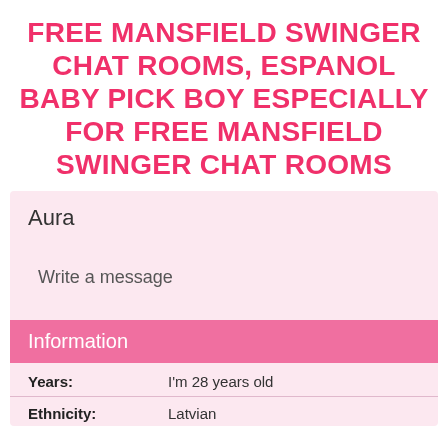FREE MANSFIELD SWINGER CHAT ROOMS, ESPANOL BABY PICK BOY ESPECIALLY FOR FREE MANSFIELD SWINGER CHAT ROOMS
Aura
Write a message
Information
|  |  |
| --- | --- |
| Years: | I'm 28 years old |
| Ethnicity: | Latvian |